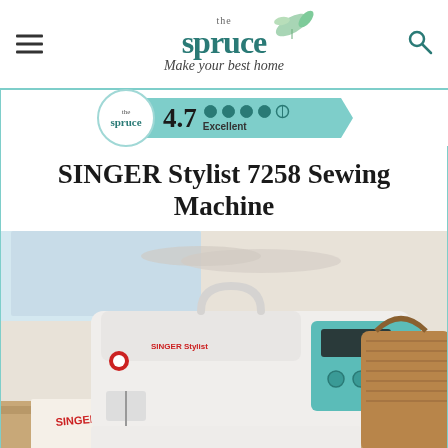the spruce — Make your best home
[Figure (infographic): Rating badge showing 4.7 Excellent from The Spruce, teal ribbon design with 5 dots]
SINGER Stylist 7258 Sewing Machine
[Figure (photo): SINGER Stylist sewing machine in white and teal on a table, with a wicker basket in the background]